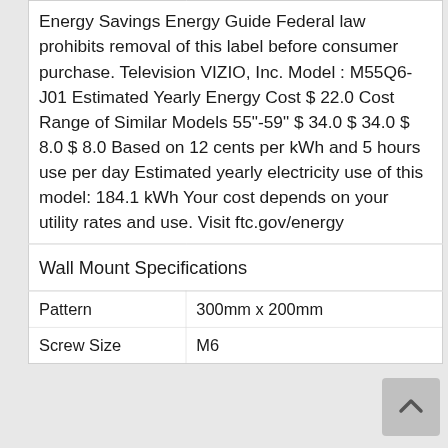Energy Savings Energy Guide Federal law prohibits removal of this label before consumer purchase. Television VIZIO, Inc. Model : M55Q6-J01 Estimated Yearly Energy Cost $ 22.0 Cost Range of Similar Models 55"-59" $ 34.0 $ 34.0 $ 8.0 $ 8.0 Based on 12 cents per kWh and 5 hours use per day Estimated yearly electricity use of this model: 184.1 kWh Your cost depends on your utility rates and use. Visit ftc.gov/energy
Wall Mount Specifications
|  |  |
| --- | --- |
| Pattern | 300mm x 200mm |
| Screw Size | M6 |